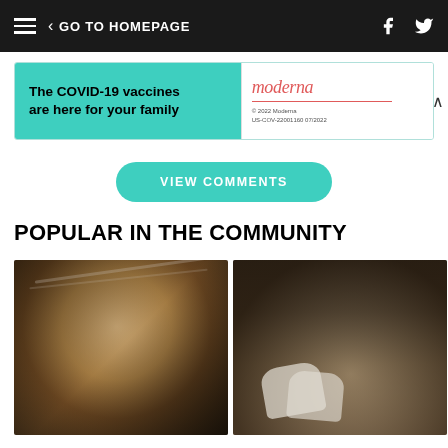GO TO HOMEPAGE
[Figure (photo): Moderna COVID-19 vaccine advertisement banner. Left side teal/green with text 'The COVID-19 vaccines are here for your family'. Right side white with Moderna logo.]
VIEW COMMENTS
POPULAR IN THE COMMUNITY
[Figure (photo): Photo of a man with grey hair looking upward, shot from below against a dark background.]
[Figure (photo): Photo of hands holding white bags or packages in a dimly lit setting.]